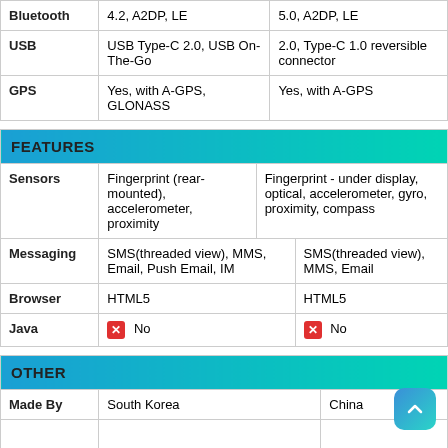|  | Device 1 | Device 2 |
| --- | --- | --- |
| Bluetooth | 4.2, A2DP, LE | 5.0, A2DP, LE |
| USB | USB Type-C 2.0, USB On-The-Go | 2.0, Type-C 1.0 reversible connector |
| GPS | Yes, with A-GPS, GLONASS | Yes, with A-GPS |
FEATURES
|  | Device 1 | Device 2 |
| --- | --- | --- |
| Sensors | Fingerprint (rear-mounted), accelerometer, proximity | Fingerprint - under display, optical, accelerometer, gyro, proximity, compass |
| Messaging | SMS(threaded view), MMS, Email, Push Email, IM | SMS(threaded view), MMS, Email |
| Browser | HTML5 | HTML5 |
| Java | No | No |
OTHER
|  | Device 1 | Device 2 |
| --- | --- | --- |
| Made By | South Korea | China |